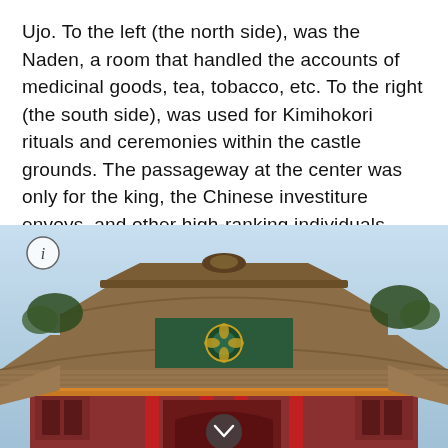Ujo. To the left (the north side), was the Naden, a room that handled the accounts of medicinal goods, tea, tobacco, etc. To the right (the south side), was used for Kimihokori rituals and ceremonies within the castle grounds. The passageway at the center was only for the king, the Chinese investiture envoys, and other high-ranking individuals. Other officials entered through the passage on both sides.
[Figure (photo): Photograph of a traditional Ryukyuan castle building (likely Shuri Castle) with a tiered, curved red-and-brown tile roof, decorated facade with colorful ornamental details, red pillars, and a light blue sky background. An info icon circle appears in the upper left corner of the image, and a downward chevron button appears at the bottom center.]